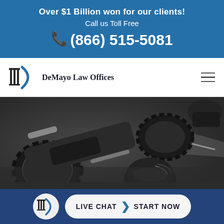Over $1 Billion won for our clients! Call us Toll Free (866) 515-5081
[Figure (logo): DeMayo Law Offices logo with columns icon and D shape, with firm name text]
[Figure (photo): Motorcycle accident scene: crashed motorcycle on road with a helmet nearby, dark asphalt background]
If You Were Involved in a Motorcycle Accident, Our Attorneys Can Help
LIVE CHAT  START NOW